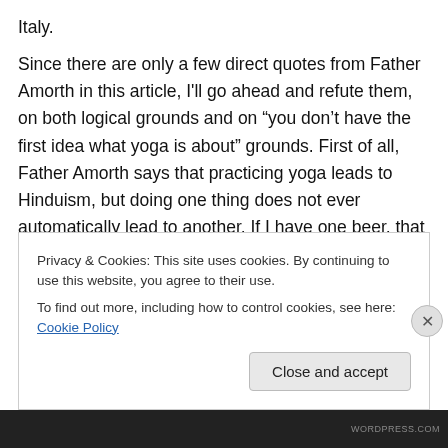Italy.
Since there are only a few direct quotes from Father Amorth in this article, I'll go ahead and refute them, on both logical grounds and on “you don’t have the first idea what yoga is about” grounds. First of all, Father Amorth says that practicing yoga leads to Hinduism, but doing one thing does not ever automatically lead to another. If I have one beer, that doesn’t automatically lead me to alcoholism; for people who have natural tendencies toward alcoholism, having one beer might lead them in that
Privacy & Cookies: This site uses cookies. By continuing to use this website, you agree to their use.
To find out more, including how to control cookies, see here: Cookie Policy